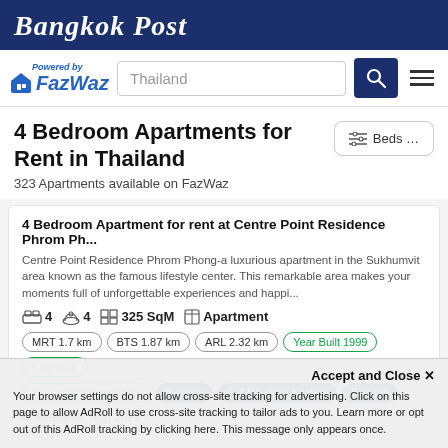Bangkok Post
[Figure (logo): FazWaz logo with house icon and 'Powered by' text, alongside search bar with 'Thailand' placeholder, search button, and hamburger menu]
4 Bedroom Apartments for Rent in Thailand
323 Apartments available on FazWaz
4 Bedroom Apartment for rent at Centre Point Residence Phrom Ph...
Centre Point Residence Phrom Phong-a luxurious apartment in the Sukhumvit area known as the famous lifestyle center. This remarkable area makes your moments full of unforgettable experiences and happi...
4  4  325 SqM  Apartment
MRT 1.7 km  BTS 1.87 km  ARL 2.32 km  Year Built 1999  City View  Unblocked Open View  Balcony  Full Western Kitchen  Bathtub
● Available: Aug 2022
Accept and Close ✕
Your browser settings do not allow cross-site tracking for advertising. Click on this page to allow AdRoll to use cross-site tracking to tailor ads to you. Learn more or opt out of this AdRoll tracking by clicking here. This message only appears once.